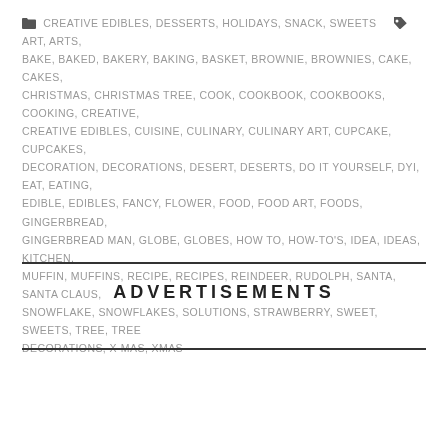CREATIVE EDIBLES, DESSERTS, HOLIDAYS, SNACK, SWEETS  ART, ARTS, BAKE, BAKED, BAKERY, BAKING, BASKET, BROWNIE, BROWNIES, CAKE, CAKES, CHRISTMAS, CHRISTMAS TREE, COOK, COOKBOOK, COOKBOOKS, COOKING, CREATIVE, CREATIVE EDIBLES, CUISINE, CULINARY, CULINARY ART, CUPCAKE, CUPCAKES, DECORATION, DECORATIONS, DESERT, DESERTS, DO IT YOURSELF, DYI, EAT, EATING, EDIBLE, EDIBLES, FANCY, FLOWER, FOOD, FOOD ART, FOODS, GINGERBREAD, GINGERBREAD MAN, GLOBE, GLOBES, HOW TO, HOW-TO'S, IDEA, IDEAS, KITCHEN, MUFFIN, MUFFINS, RECIPE, RECIPES, REINDEER, RUDOLPH, SANTA, SANTA CLAUS, SNOWFLAKE, SNOWFLAKES, SOLUTIONS, STRAWBERRY, SWEET, SWEETS, TREE, TREE DECORATIONS, X-MAS, XMAS
ADVERTISEMENTS